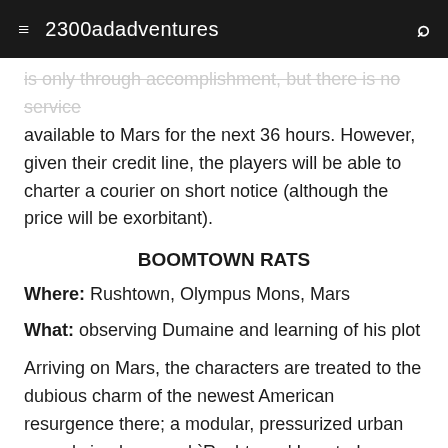≡  2300adadventures  🔍
is only through accomplishment, but there is no service available to Mars for the next 36 hours. However, given their credit line, the players will be able to charter a courier on short notice (although the price will be exorbitant).
BOOMTOWN RATS
Where: Rushtown, Olympus Mons, Mars
What: observing Dumaine and learning of his plot
Arriving on Mars, the characters are treated to the dubious charm of the newest American resurgence there; a modular, pressurized urban sprawl simply named 'Rushtown.' Located approximately 300 kilometers north of the older American colony, Rushtown is a classic boomtown, the direct outgrowth of the tantalum strike made in Olympus Mons several years ago. The chaotic cluster of buildings holds almost 10,000 inhabitants, most of whom are